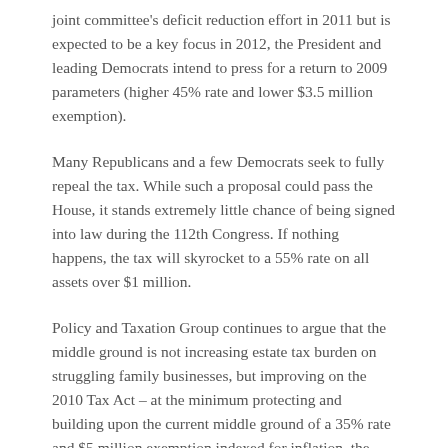joint committee's deficit reduction effort in 2011 but is expected to be a key focus in 2012, the President and leading Democrats intend to press for a return to 2009 parameters (higher 45% rate and lower $3.5 million exemption).
Many Republicans and a few Democrats seek to fully repeal the tax. While such a proposal could pass the House, it stands extremely little chance of being signed into law during the 112th Congress. If nothing happens, the tax will skyrocket to a 55% rate on all assets over $1 million.
Policy and Taxation Group continues to argue that the middle ground is not increasing estate tax burden on struggling family businesses, but improving on the 2010 Tax Act – at the minimum protecting and building upon the current middle ground of a 35% rate and $5 million exemption indexed for inflation, the maximum conclusion being indexed